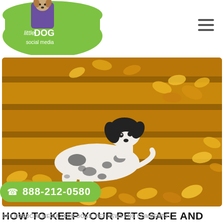little DOG social media
[Figure (photo): A black and white spotted dog lying on brick steps covered with autumn yellow/orange fallen leaves]
HOW TO KEEP YOUR PETS SAFE AND WARM DURING THE FALL
📞 888-212-0580
BY LDGSOCIALMEDIA · FOR DOGS, PET NEWS / NO COMMENTS / NOVEMBER 12, 2020